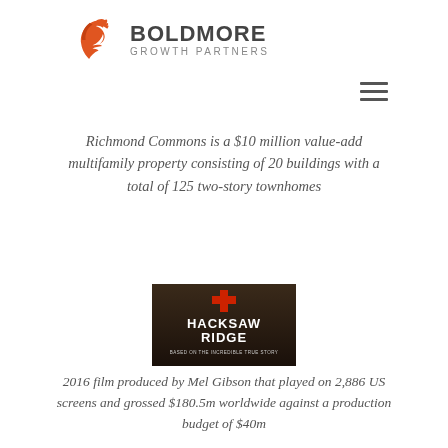[Figure (logo): Boldmore Growth Partners logo with orange horse icon and company name]
[Figure (other): Hamburger menu icon (three horizontal lines)]
Richmond Commons is a $10 million value-add multifamily property consisting of 20 buildings with a total of 125 two-story townhomes
[Figure (photo): Hacksaw Ridge 2016 film poster — dark moody image with red cross symbol and text reading HACKSAW RIDGE BASED ON THE INCREDIBLE TRUE STORY]
2016 film produced by Mel Gibson that played on 2,886 US screens and grossed $180.5m worldwide against a production budget of $40m